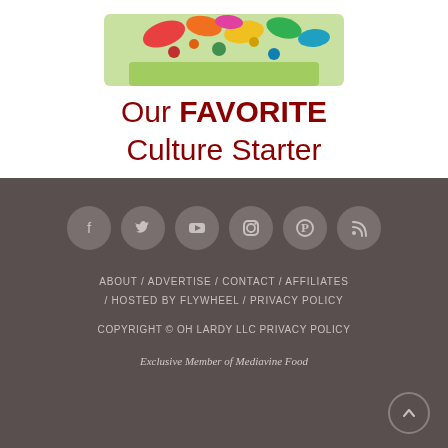[Figure (photo): Product image of a culture starter package with colorful floral design on a light green background, partially visible at top]
Our FAVORITE Culture Starter
[Figure (infographic): Footer with social media icons (Facebook, Twitter, YouTube, Instagram, Pinterest, RSS), navigation links, copyright, and membership info on dark brownish-gray background]
ABOUT / ADVERTISE / CONTACT / AFFILIATES / HOSTED BY FLYWHEEL / PRIVACY POLICY
COPYRIGHT © OH LARDY LLC PRIVACY POLICY
Exclusive Member of Mediavine Food